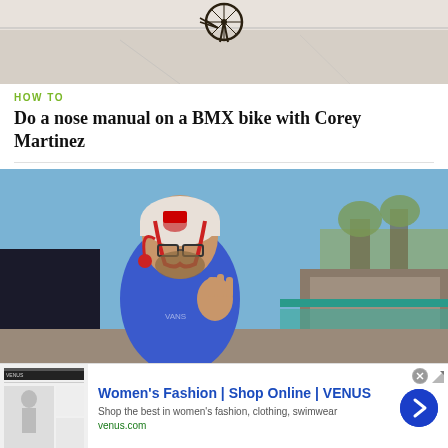[Figure (photo): Top cropped image showing a BMX bike in the air over a concrete surface, light background]
HOW TO
Do a nose manual on a BMX bike with Corey Martinez
[Figure (photo): A man wearing a helmet, glasses, and a blue t-shirt making a hand gesture, standing at a skate park with ramps and trees in background]
[Figure (screenshot): Advertisement: Women's Fashion | Shop Online | VENUS. Shop the best in women's fashion, clothing, swimwear. venus.com]